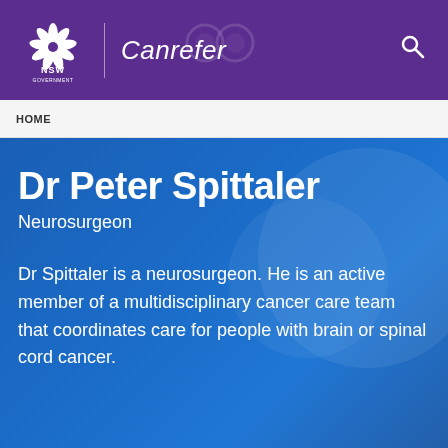[Figure (logo): NSW Government logo with lotus flower icon and Canrefer branding on purple header bar]
HOME
Dr Peter Spittaler
Neurosurgeon
Dr Spittaler is a neurosurgeon. He is an active member of a multidisciplinary cancer care team that coordinates care for people with brain or spinal cord cancer.